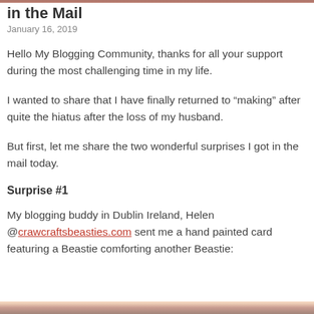in the Mail
January 16, 2019
Hello My Blogging Community, thanks for all your support during the most challenging time in my life.
I wanted to share that I have finally returned to “making” after quite the hiatus after the loss of my husband.
But first, let me share the two wonderful surprises I got in the mail today.
Surprise #1
My blogging buddy in Dublin Ireland, Helen @crawcraftsbeasties.com sent me a hand painted card featuring a Beastie comforting another Beastie:
[Figure (photo): Bottom strip showing a partial photograph, likely the hand painted card mentioned in the text.]